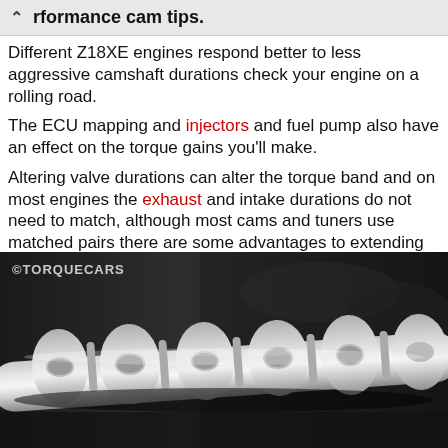rformance cam tips.
Different Z18XE engines respond better to less aggressive camshaft durations check your engine on a rolling road.
The ECU mapping and injectors and fuel pump also have an effect on the torque gains you'll make.
Altering valve durations can alter the torque band and on most engines the exhaust and intake durations do not need to match, although most cams and tuners use matched pairs there are some advantages to extending the intake or exhaust durations.
[Figure (photo): Close-up photograph of a metallic camshaft with multiple lobes, shot against a dark blurred engine background. Watermark reads @TorqueCars in top-left corner.]